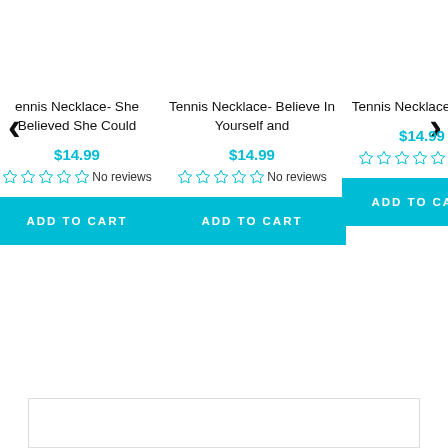<
Tennis Necklace- She Believed She Could
$14.99
No reviews
ADD TO CART
Tennis Necklace- Believe In Yourself and
$14.99
No reviews
ADD TO CART
Tennis Necklace - I Beli
$14.99
No revi
ADD TO CART
>